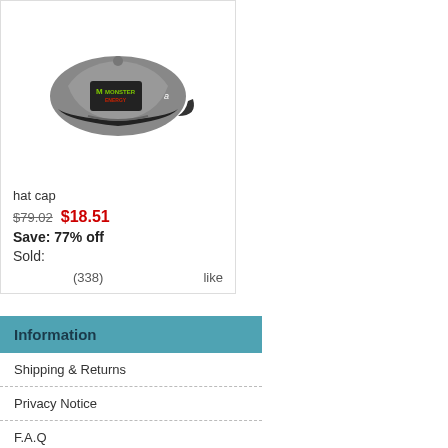[Figure (photo): Gray and black Monster Energy branded snapback hat cap viewed from the front-left angle]
hat cap
$79.02  $18.51
Save: 77% off
Sold:
(338)   like
Information
Shipping & Returns
Privacy Notice
F.A.Q
Contact Us
Site Map